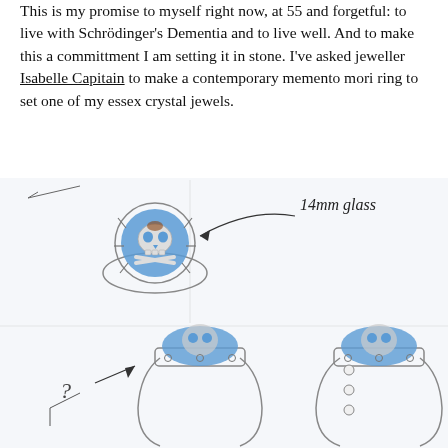This is my promise to myself right now, at 55 and forgetful: to live with Schrödinger's Dementia and to live well. And to make this a committment I am setting it in stone. I've asked jeweller Isabelle Capitain to make a contemporary memento mori ring to set one of my essex crystal jewels.
[Figure (illustration): Sketches of a memento mori ring design featuring a skull and crossbones on a blue circular stone. Top sketch shows front view of the ring with an arrow and handwritten annotation '14mm glass'. Bottom left sketch shows a side/profile view with a question mark annotation. Bottom right sketch shows another side view with visible screw/rivet details on the band.]